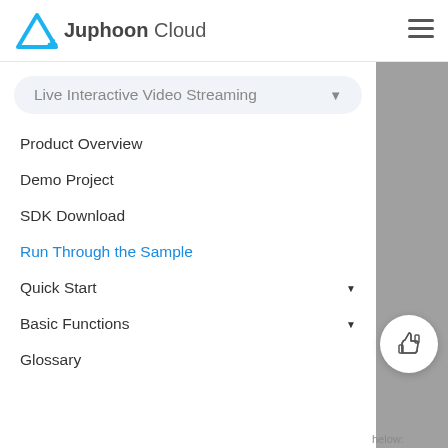Juphoon Cloud
Live Interactive Video Streaming
Product Overview
Demo Project
SDK Download
Run Through the Sample
Quick Start
Basic Functions
Glossary
helow: